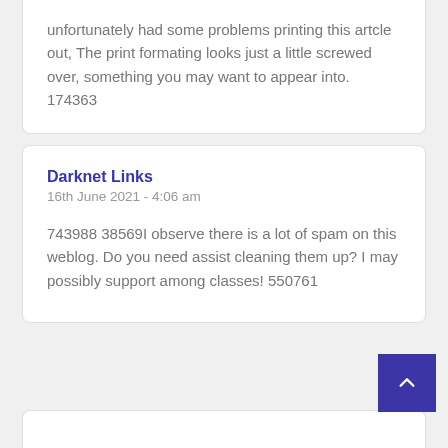unfortunately had some problems printing this artcle out, The print formating looks just a little screwed over, something you may want to appear into. 174363
Darknet Links
16th June 2021 - 4:06 am
743988 38569I observe there is a lot of spam on this weblog. Do you need assist cleaning them up? I may possibly support among classes! 550761